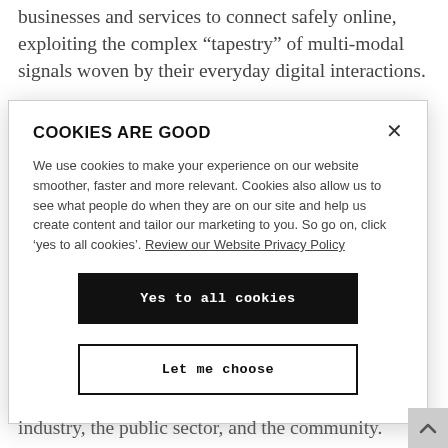businesses and services to connect safely online, exploiting the complex “tapestry” of multi-modal signals woven by their everyday digital interactions.
One of the focuses of the EPSRC funding is around the
COOKIES ARE GOOD
We use cookies to make your experience on our website smoother, faster and more relevant. Cookies also allow us to see what people do when they are on our site and help us create content and tailor our marketing to you. So go on, click ‘yes to all cookies’. Review our Website Privacy Policy
Yes to all cookies
Let me choose
industry, the public sector, and the community.